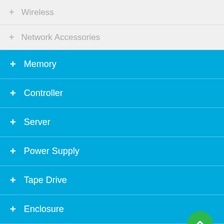+ Wireless
+ Network Accessories
+ Memory
+ Controller
+ Server
+ Power Supply
+ Tape Drive
+ Enclosure
+ Processor
+ External Storage